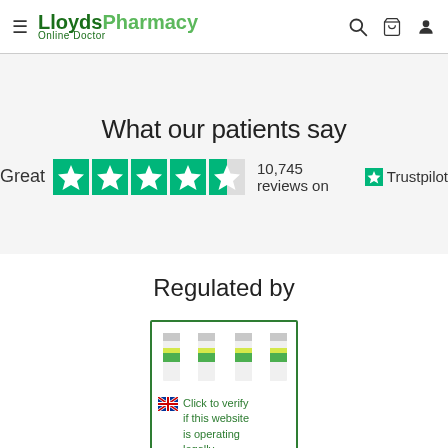LloydsPharmacy Online Doctor
What our patients say
Great  10,745 reviews on  Trustpilot
Regulated by
[Figure (other): GPhC regulatory badge with green cross logo and text: Click to verify if this website is operating legally]